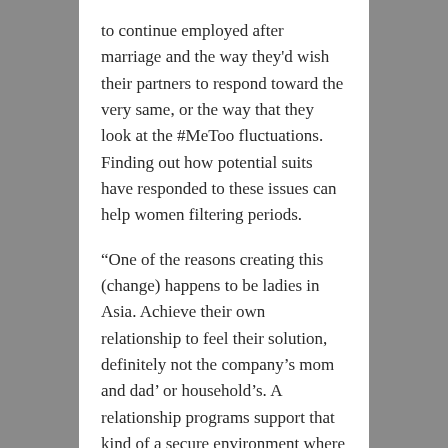to continue employed after marriage and the way they'd wish their partners to respond toward the very same, or the way that they look at the #MeToo fluctuations. Finding out how potential suits have responded to these issues can help women filtering periods.
“One of the reasons creating this (change) happens to be ladies in Asia. Achieve their own relationship to feel their solution, definitely not the company’s mom and dad’ or household’s. A relationship programs support that kind of a secure environment where to feel these designs and head,” Hobley extra.
To make sure, the transformation is not only restricted to India’s metros, though towns like Delhi, Mumbai and Bengaluru will still be the particular stores for a relationship software